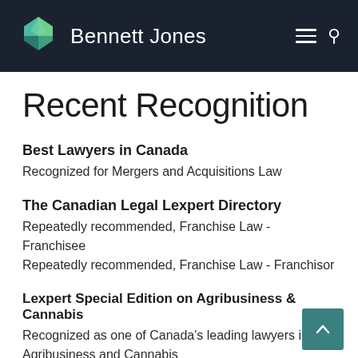Bennett Jones
Recent Recognition
Best Lawyers in Canada
Recognized for Mergers and Acquisitions Law
The Canadian Legal Lexpert Directory
Repeatedly recommended, Franchise Law - Franchisee
Repeatedly recommended, Franchise Law - Franchisor
Lexpert Special Edition on Agribusiness & Cannabis
Recognized as one of Canada's leading lawyers in Agribusiness and Cannabis